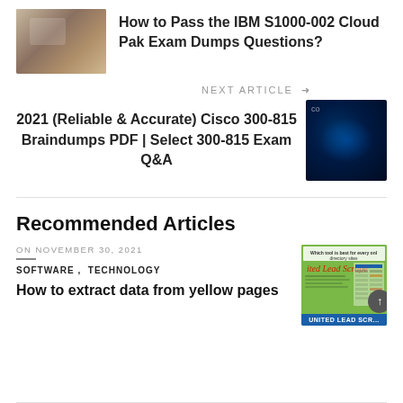[Figure (photo): Photo of people studying/working at a desk]
How to Pass the IBM S1000-002 Cloud Pak Exam Dumps Questions?
NEXT ARTICLE →
2021 (Reliable & Accurate) Cisco 300-815 Braindumps PDF | Select 300-815 Exam Q&A
[Figure (photo): Blue digital network circuit board image]
Recommended Articles
ON NOVEMBER 30, 2021
SOFTWARE ,  TECHNOLOGY
How to extract data from yellow pages
[Figure (screenshot): United Lead Scrape tool screenshot with yellow/green background showing directory tool comparison]